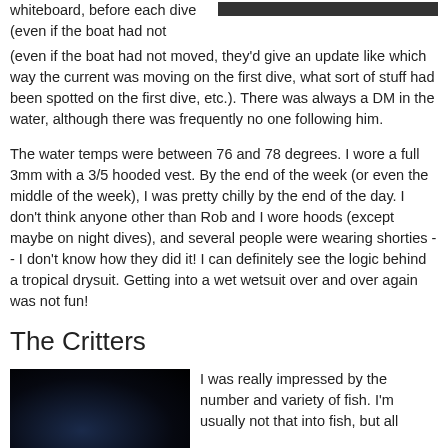whiteboard, before each dive (even if the boat had not moved, they'd give an update like which way the current was moving on the first dive, what sort of stuff had been spotted on the first dive, etc.). There was always a DM in the water, although there was frequently no one following him.
[Figure (photo): Dark rectangular photo at top right, appears to be an underwater or dark scene]
The water temps were between 76 and 78 degrees. I wore a full 3mm with a 3/5 hooded vest. By the end of the week (or even the middle of the week), I was pretty chilly by the end of the day. I don't think anyone other than Rob and I wore hoods (except maybe on night dives), and several people were wearing shorties -- I don't know how they did it! I can definitely see the logic behind a tropical drysuit. Getting into a wet wetsuit over and over again was not fun!
The Critters
[Figure (photo): Dark underwater photo showing fish or marine life in dark blue/black water]
I was really impressed by the number and variety of fish. I'm usually not that into fish, but all